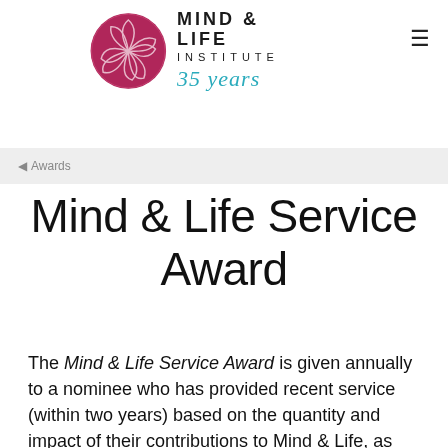[Figure (logo): Mind & Life Institute logo with circular pink flower-like emblem, text 'MIND & LIFE INSTITUTE' and '35 years' in teal cursive]
Awards
Mind & Life Service Award
The Mind & Life Service Award is given annually to a nominee who has provided recent service (within two years) based on the quantity and impact of their contributions to Mind & Life, as well as how well they exemplify Mind & Life values. Board members